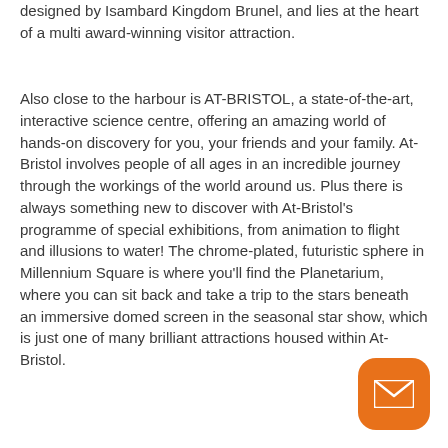designed by Isambard Kingdom Brunel, and lies at the heart of a multi award-winning visitor attraction.
Also close to the harbour is AT-BRISTOL, a state-of-the-art, interactive science centre, offering an amazing world of hands-on discovery for you, your friends and your family. At-Bristol involves people of all ages in an incredible journey through the workings of the world around us. Plus there is always something new to discover with At-Bristol's programme of special exhibitions, from animation to flight and illusions to water! The chrome-plated, futuristic sphere in Millennium Square is where you'll find the Planetarium, where you can sit back and take a trip to the stars beneath an immersive domed screen in the seasonal star show, which is just one of many brilliant attractions housed within At-Bristol.
[Figure (other): Orange rounded square button with a white envelope/mail icon]